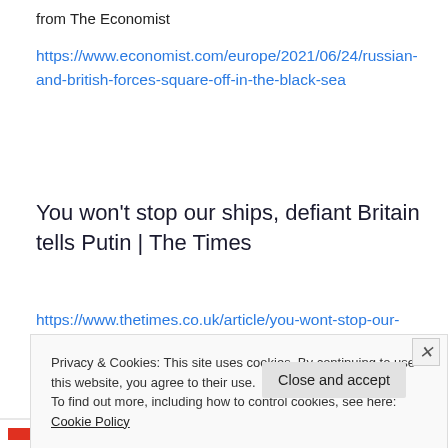from The Economist
https://www.economist.com/europe/2021/06/24/russian-and-british-forces-square-off-in-the-black-sea
You won't stop our ships, defiant Britain tells Putin | The Times
https://www.thetimes.co.uk/article/you-wont-stop-our-
Privacy & Cookies: This site uses cookies. By continuing to use this website, you agree to their use.
To find out more, including how to control cookies, see here: Cookie Policy
Close and accept